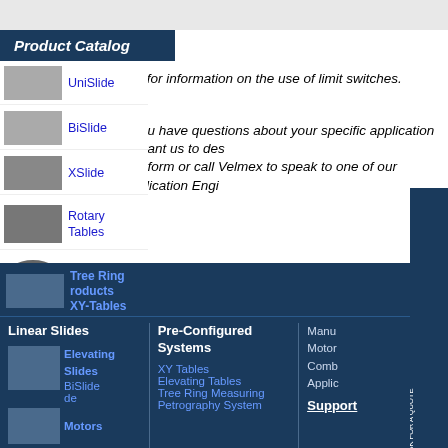Product Catalog
UniSlide
hits for information on the use of limit switches.
BiSlide
If you have questions about your specific application or want us to des... nce form or call Velmex to speak to one of our Application Engi...
XSlide
Rotary Tables
Turntables
Tree Ring Products
XY-Tables
Linear Slides
Elevating Slides
BiSlide
de
Motors
Rotary Systems
Pre-Configured Systems
XY Tables
Elevating Tables
Tree Ring Measuring
Petrography System
Manu... Motor Comb... Applic...
Support
REQUEST ASSISTANCE OR ASK FOR A QUOTE
Ex...